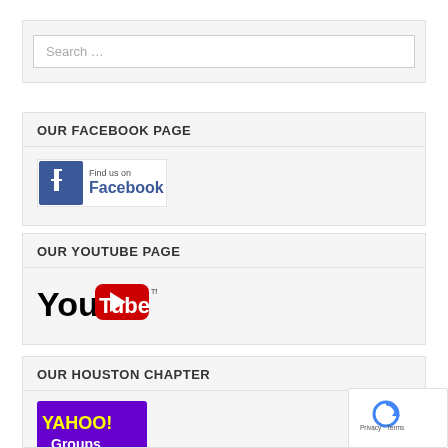Search …
OUR FACEBOOK PAGE
[Figure (logo): Find us on Facebook logo button]
OUR YOUTUBE PAGE
[Figure (logo): YouTube logo]
OUR HOUSTON CHAPTER
[Figure (logo): Yahoo! Groups logo]
[Figure (logo): reCAPTCHA badge with Privacy and Terms links]